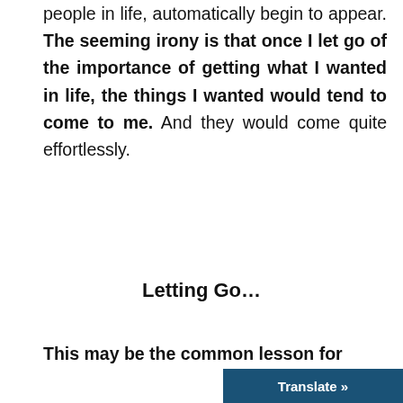people in life, automatically begin to appear. The seeming irony is that once I let go of the importance of getting what I wanted in life, the things I wanted would tend to come to me. And they would come quite effortlessly.
Letting Go…
This may be the common lesson for